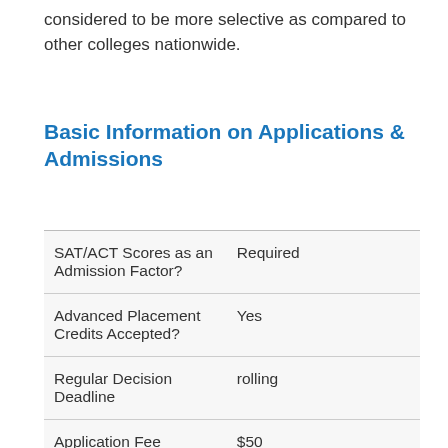considered to be more selective as compared to other colleges nationwide.
Basic Information on Applications & Admissions
| SAT/ACT Scores as an Admission Factor? | Required |
| Advanced Placement Credits Accepted? | Yes |
| Regular Decision Deadline | rolling |
| Application Fee | $50 |
| Admissions Website | www.cui.edu/admissions/ |